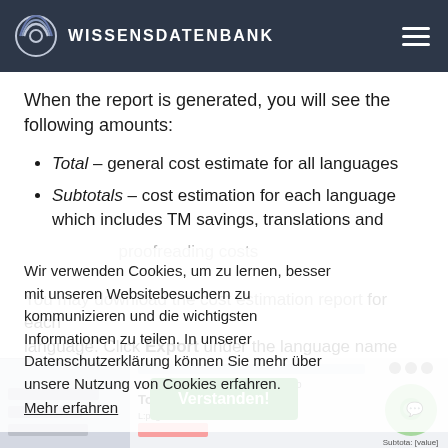WISSENSDATENBANK
When the report is generated, you will see the following amounts:
Total – general cost estimate for all languages
Subtotals – cost estimation for each language which includes TM savings, translations and proofreading costs
You may download the cost estimation report for each language. Click Export under the language name and select the export format (CSV or XLSX).
Wir verwenden Cookies, um zu lernen, besser mit unseren Websitebesuchern zu kommunizieren und die wichtigsten Informationen zu teilen. In unserer Datenschutzerklärung können Sie mehr über unsere Nutzung von Cookies erfahren.
Mehr erfahren
[Figure (screenshot): Screenshot of a cost estimation report interface showing Total: $773.12 with a green Verstanden! button overlay and a chat bubble on the right.]